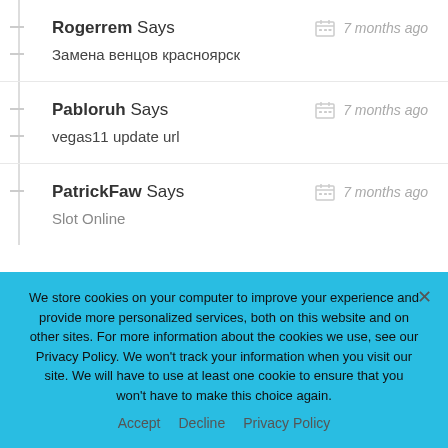Rogerrem Says — 7 months ago
Замена венцов красноярск
Pabloruh Says — 7 months ago
vegas11 update url
PatrickFaw Says — 7 months ago
Slot Online
We store cookies on your computer to improve your experience and provide more personalized services, both on this website and on other sites. For more information about the cookies we use, see our Privacy Policy. We won't track your information when you visit our site. We will have to use at least one cookie to ensure that you won't have to make this choice again.
Accept   Decline   Privacy Policy